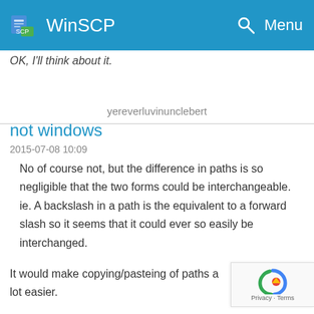WinSCP
OK, I'll think about it.
yereverluvinunclebert
not windows
2015-07-08 10:09
No of course not, but the difference in paths is so negligible that the two forms could be interchangeable. ie. A backslash in a path is the equivalent to a forward slash so it seems that it could ever so easily be interchanged.
It would make copying/pasteing of paths a lot easier.